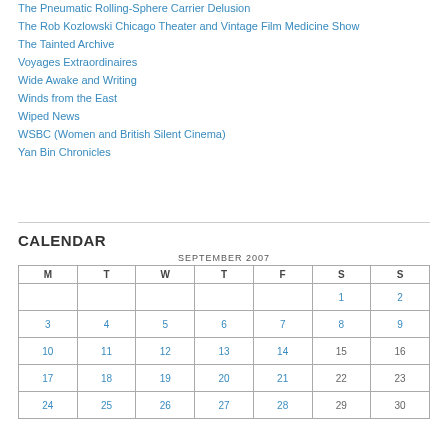The Pneumatic Rolling-Sphere Carrier Delusion
The Rob Kozlowski Chicago Theater and Vintage Film Medicine Show
The Tainted Archive
Voyages Extraordinaires
Wide Awake and Writing
Winds from the East
Wiped News
WSBC (Women and British Silent Cinema)
Yan Bin Chronicles
CALENDAR
| M | T | W | T | F | S | S |
| --- | --- | --- | --- | --- | --- | --- |
|  |  |  |  |  | 1 | 2 |
| 3 | 4 | 5 | 6 | 7 | 8 | 9 |
| 10 | 11 | 12 | 13 | 14 | 15 | 16 |
| 17 | 18 | 19 | 20 | 21 | 22 | 23 |
| 24 | 25 | 26 | 27 | 28 | 29 | 30 |